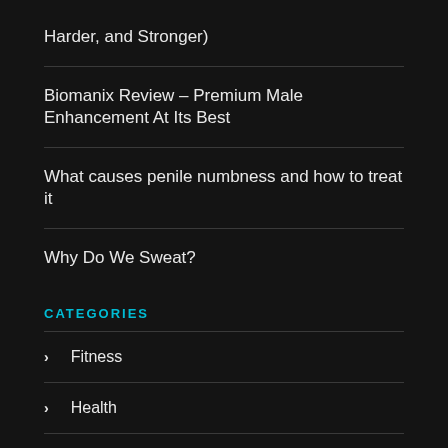Harder, and Stronger)
Biomanix Review – Premium Male Enhancement At Its Best
What causes penile numbness and how to treat it
Why Do We Sweat?
CATEGORIES
Fitness
Health
Nutrition
Sex
Weight Loss